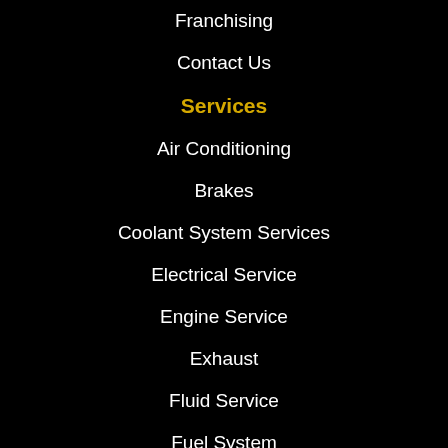Franchising
Contact Us
Services
Air Conditioning
Brakes
Coolant System Services
Electrical Service
Engine Service
Exhaust
Fluid Service
Fuel System
Miscellaneous Services
Oil Change
Preventative Maintenance
Radiator
Suspension